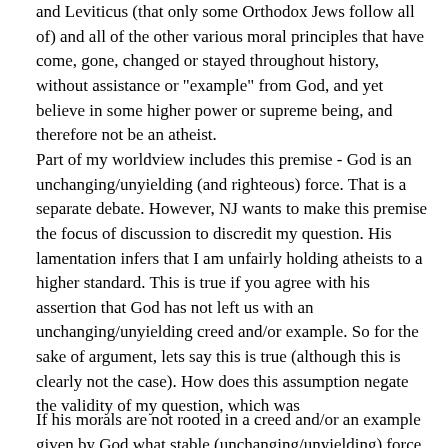commandments plus the other 600+ commandments in Exodus and Leviticus (that only some Orthodox Jews follow all of) and all of the other various moral principles that have come, gone, changed or stayed throughout history, without assistance or "example" from God, and yet believe in some higher power or supreme being, and therefore not be an atheist.
Part of my worldview includes this premise - God is an unchanging/unyielding (and righteous) force. That is a separate debate. However, NJ wants to make this premise the focus of discussion to discredit my question. His lamentation infers that I am unfairly holding atheists to a higher standard. This is true if you agree with his assertion that God has not left us with an unchanging/unyielding creed and/or example. So for the sake of argument, lets say this is true (although this is clearly not the case). How does this assumption negate the validity of my question, which was
If his morals are not rooted in a creed and/or an example given by God what stable (unchanging/unyielding) force sustains the